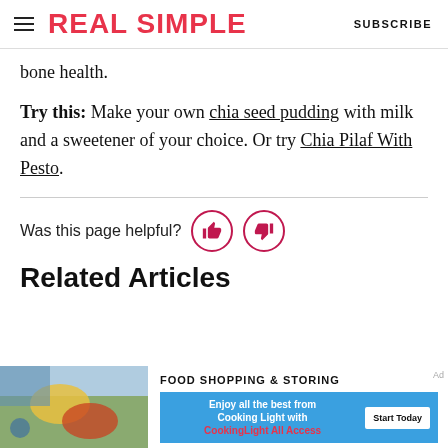REAL SIMPLE | SUBSCRIBE
bone health.
Try this: Make your own chia seed pudding with milk and a sweetener of your choice. Or try Chia Pilaf With Pesto.
Was this page helpful?
Related Articles
FOOD SHOPPING & STORING
Enjoy all the best from Cooking Light with CookingLight All Access | Start Today